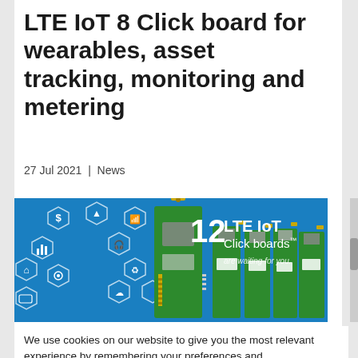LTE IoT 8 Click board for wearables, asset tracking, monitoring and metering
27 Jul 2021 | News
[Figure (photo): Promotional image showing LTE IoT Click boards on a blue background with IoT icons. Text reads '12 LTE IoT Click boards are waiting for you.' Green PCB boards with antennas are visible.]
We use cookies on our website to give you the most relevant experience by remembering your preferences and